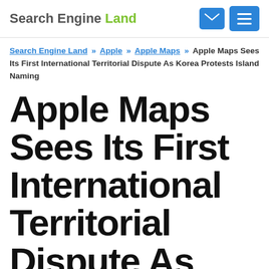Search Engine Land
Search Engine Land » Apple » Apple Maps » Apple Maps Sees Its First International Territorial Dispute As Korea Protests Island Naming
Apple Maps Sees Its First International Territorial Dispute As Korea Protests Island Naming
From the it-had-to-happen-sooner-or-later